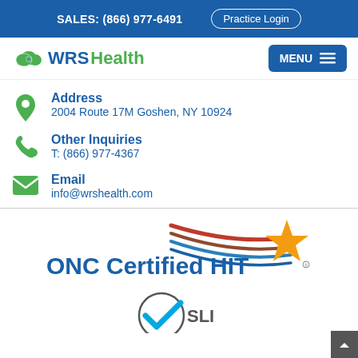SALES: (866) 977-6491   Practice Login
[Figure (logo): WRSHealth cloud logo with cloud icon]
Address
2004 Route 17M Goshen, NY 10924
Other Inquiries
T: (866) 977-4367
Email
info@wrshealth.com
[Figure (logo): ONC Certified HIT logo with swoosh graphic and star]
[Figure (logo): SLI checkmark certification logo]